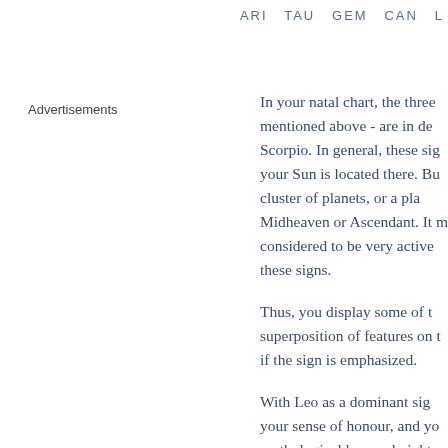ARI  TAU  GEM  CAN  L
Advertisements
In your natal chart, the three mentioned above - are in de Scorpio. In general, these sig your Sun is located there. Bu cluster of planets, or a pla Midheaven or Ascendant. It m considered to be very active these signs.
Thus, you display some of t superposition of features on t if the sign is emphasized.
With Leo as a dominant sig your sense of honour, and yo mythological hero, a knight o blame you for your selfish authority, but if you are self- surely makes up for your little